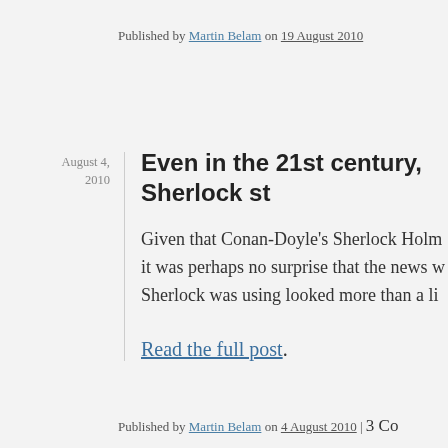Published by Martin Belam on 19 August 2010
August 4, 2010
Even in the 21st century, Sherlock st…
Given that Conan-Doyle's Sherlock Holm… it was perhaps no surprise that the news w… Sherlock was using looked more than a li…
Read the full post.
Published by Martin Belam on 4 August 2010 | 3 Co…